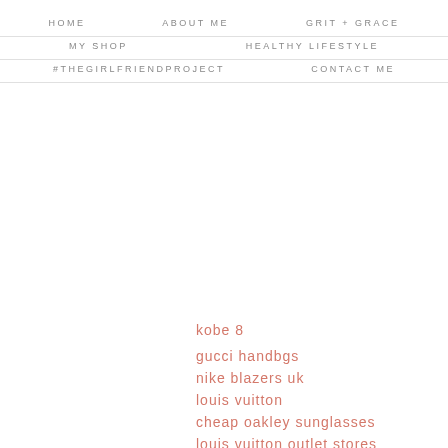HOME   ABOUT ME   GRIT + GRACE
MY SHOP   HEALTHY LIFESTYLE
#THEGIRLFRIENDPROJECT   CONTACT ME
kobe 8
gucci handbgs
nike blazers uk
louis vuitton
cheap oakley sunglasses
louis vuitton outlet stores
toms wedges
nfl jerseys
oakley outlet
retro jordans 13
uggs for women
michael kors bags
ray bans
true religion jeans
abercrombie outlet
louis vuitton bags